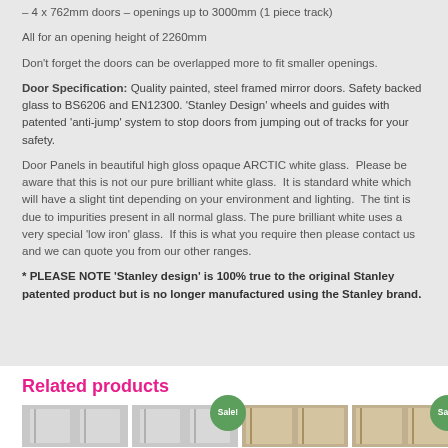– 4 x 762mm doors – openings up to 3000mm (1 piece track)
All for an opening height of 2260mm
Don't forget the doors can be overlapped more to fit smaller openings.
Door Specification: Quality painted, steel framed mirror doors. Safety backed glass to BS6206 and EN12300. 'Stanley Design' wheels and guides with patented 'anti-jump' system to stop doors from jumping out of tracks for your safety.
Door Panels in beautiful high gloss opaque ARCTIC white glass.  Please be aware that this is not our pure brilliant white glass.  It is standard white which will have a slight tint depending on your environment and lighting.  The tint is due to impurities present in all normal glass. The pure brilliant white uses a very special 'low iron' glass.  If this is what you require then please contact us and we can quote you from our other ranges.
* PLEASE NOTE 'Stanley design' is 100% true to the original Stanley patented product but is no longer manufactured using the Stanley brand.
Related products
[Figure (photo): Two product images with Sale badges showing sliding door products]